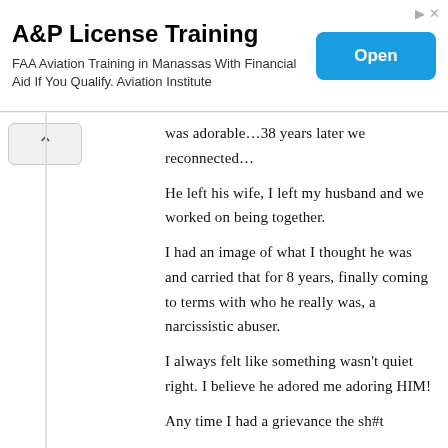[Figure (screenshot): Advertisement banner for A&P License Training. Title: 'A&P License Training'. Subtitle: 'FAA Aviation Training in Manassas With Financial Aid If You Qualify. Aviation Institute'. Blue 'Open' button on the right.]
was adorable…38 years later we reconnected…
He left his wife, I left my husband and we worked on being together.
I had an image of what I thought he was and carried that for 8 years, finally coming to terms with who he really was, a narcissistic abuser.
I always felt like something wasn't quiet right. I believe he adored me adoring HIM!
Any time I had a grievance the sh#t